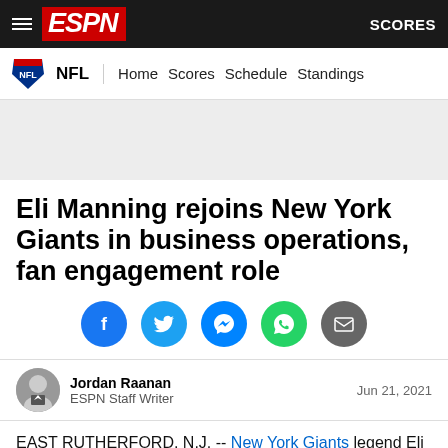ESPN | SCORES
NFL | Home | Scores | Schedule | Standings
[Figure (other): Gray advertisement banner placeholder]
Eli Manning rejoins New York Giants in business operations, fan engagement role
[Figure (infographic): Social sharing icons row: Facebook, Twitter, Messenger, WhatsApp, Email]
Jordan Raanan
ESPN Staff Writer
Jun 21, 2021
EAST RUTHERFORD, N.J. -- New York Giants legend Eli